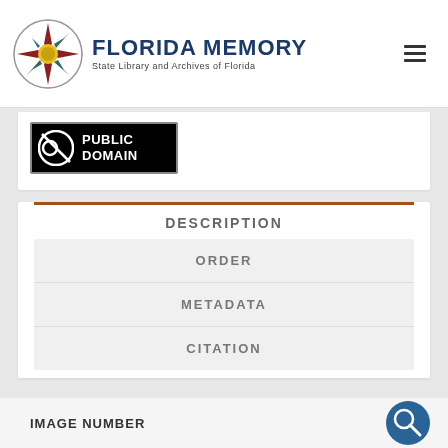Florida Memory — State Library and Archives of Florida
[Figure (logo): Public Domain badge with circular no-copyright symbol and text PUBLIC DOMAIN on black background]
DESCRIPTION
ORDER
METADATA
CITATION
IMAGE NUMBER